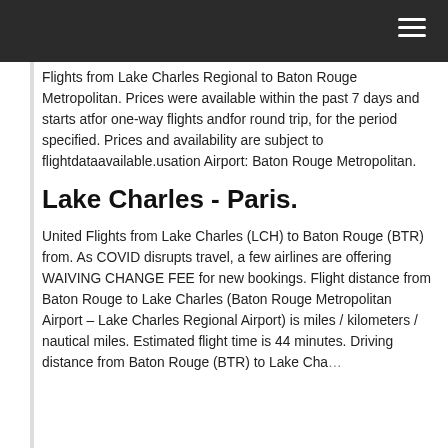Flights from Lake Charles Regional to Baton Rouge Metropolitan. Prices were available within the past 7 days and starts atfor one-way flights andfor round trip, for the period specified. Prices and availability are subject to flightdataavailable.usation Airport: Baton Rouge Metropolitan.
Lake Charles - Paris.
United Flights from Lake Charles (LCH) to Baton Rouge (BTR) from. As COVID disrupts travel, a few airlines are offering WAIVING CHANGE FEE for new bookings. Flight distance from Baton Rouge to Lake Charles (Baton Rouge Metropolitan Airport – Lake Charles Regional Airport) is miles / kilometers / nautical miles. Estimated flight time is 44 minutes. Driving distance from Baton Rouge (BTR) to Lake Charles (LCH) to…